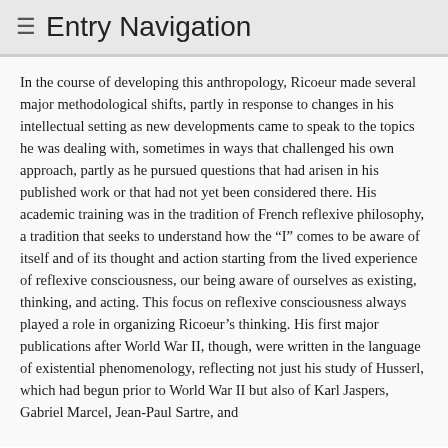≡  Entry Navigation
In the course of developing this anthropology, Ricoeur made several major methodological shifts, partly in response to changes in his intellectual setting as new developments came to speak to the topics he was dealing with, sometimes in ways that challenged his own approach, partly as he pursued questions that had arisen in his published work or that had not yet been considered there. His academic training was in the tradition of French reflexive philosophy, a tradition that seeks to understand how the “I” comes to be aware of itself and of its thought and action starting from the lived experience of reflexive consciousness, our being aware of ourselves as existing, thinking, and acting. This focus on reflexive consciousness always played a role in organizing Ricoeur’s thinking. His first major publications after World War II, though, were written in the language of existential phenomenology, reflecting not just his study of Husserl, which had begun prior to World War II but also of Karl Jaspers, Gabriel Marcel, Jean-Paul Sartre, and